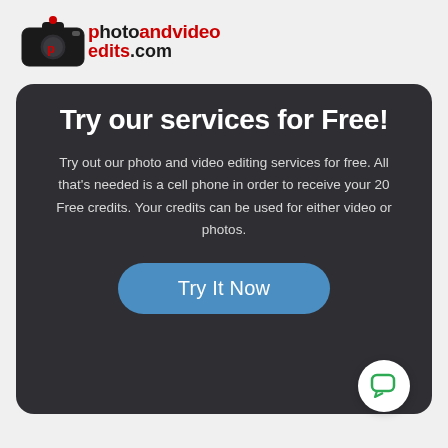[Figure (logo): Photoandvideo edits.com logo with camera icon]
Try our services for Free!
Try out our photo and video editing services for free. All that's needed is a cell phone in order to receive your 20 Free credits. Your credits can be used for either video or photos.
[Figure (other): Try It Now blue rounded button]
[Figure (other): Green chat bubble icon in white circle]